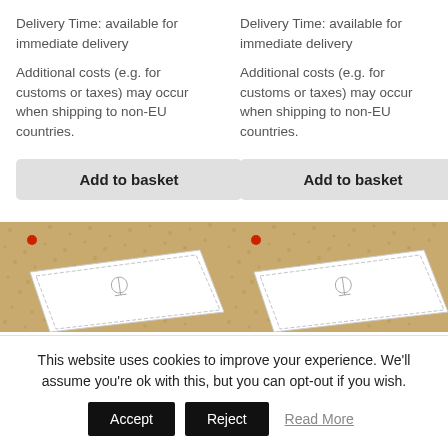Delivery Time: available for immediate delivery
Additional costs (e.g. for customs or taxes) may occur when shipping to non-EU countries.
Delivery Time: available for immediate delivery
Additional costs (e.g. for customs or taxes) may occur when shipping to non-EU countries.
[Figure (photo): Photo of a printed card/document on a cork/fabric background, top-left corner visible with a red dot]
[Figure (photo): Photo of a printed card/document on a cork/fabric background, top-left corner visible with a red dot]
This website uses cookies to improve your experience. We'll assume you're ok with this, but you can opt-out if you wish.
Accept
Reject
Read More